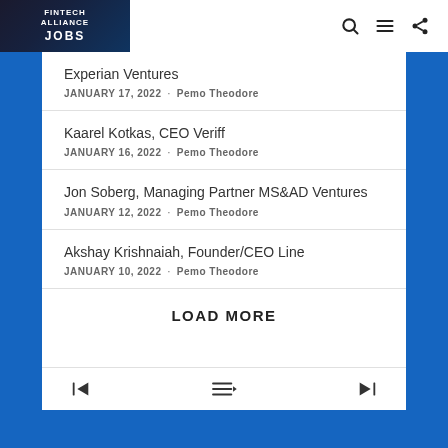Fintech Alliance Jobs — navigation header
Experian Ventures · JANUARY 17, 2022 · Pemo Theodore
Kaarel Kotkas, CEO Veriff · JANUARY 16, 2022 · Pemo Theodore
Jon Soberg, Managing Partner MS&AD Ventures · JANUARY 12, 2022 · Pemo Theodore
Akshay Krishnaiah, Founder/CEO Line · JANUARY 10, 2022 · Pemo Theodore
LOAD MORE
Navigation: previous | menu | next